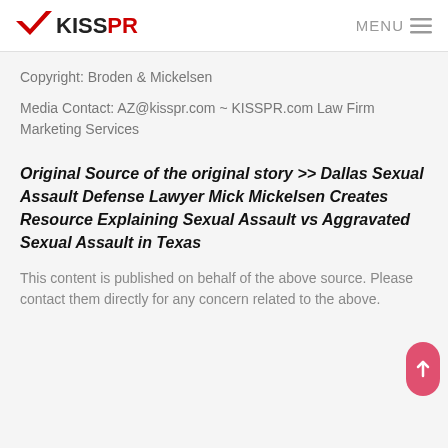KISSPR  MENU
Copyright: Broden & Mickelsen
Media Contact: AZ@kisspr.com ~ KISSPR.com Law Firm Marketing Services
Original Source of the original story >> Dallas Sexual Assault Defense Lawyer Mick Mickelsen Creates Resource Explaining Sexual Assault vs Aggravated Sexual Assault in Texas
This content is published on behalf of the above source. Please contact them directly for any concern related to the above.